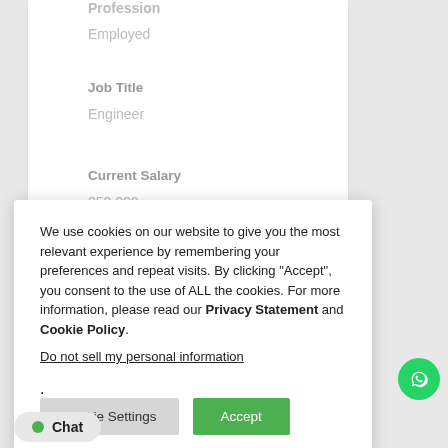Profession
Employed
Job Title
Engineer
Current Salary
250,000
We use cookies on our website to give you the most relevant experience by remembering your preferences and repeat visits. By clicking “Accept”, you consent to the use of ALL the cookies. For more information, please read our Privacy Statement and Cookie Policy.
Do not sell my personal information.
Cookie Settings
Accept
Chat